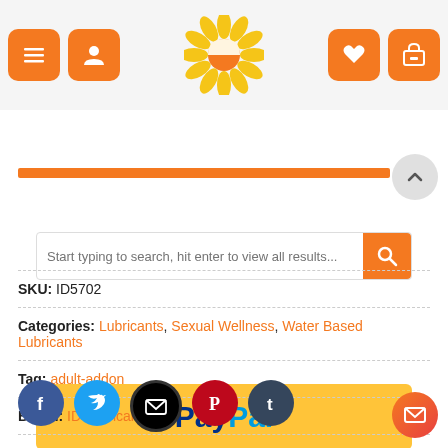[Figure (screenshot): Website header with orange hamburger menu button, user icon button, sunflower logo in center, heart wishlist button, and cart button on orange background]
[Figure (screenshot): Search bar with placeholder text and orange search button]
[Figure (screenshot): PayPal payment button in yellow/gold color]
SKU: ID5702
Categories: Lubricants, Sexual Wellness, Water Based Lubricants
Tag: adult-addon
Brand: ID Lubricants
[Figure (screenshot): Social share buttons: Facebook, Twitter, Email, Pinterest, Tumblr]